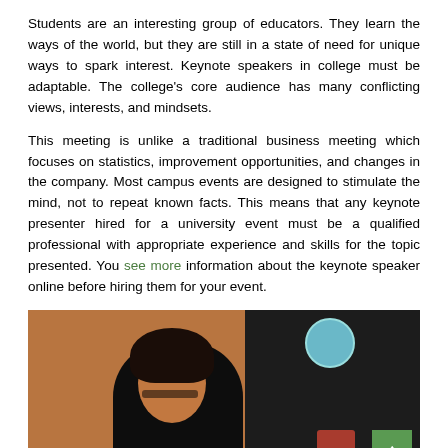Students are an interesting group of educators. They learn the ways of the world, but they are still in a state of need for unique ways to spark interest. Keynote speakers in college must be adaptable. The college's core audience has many conflicting views, interests, and mindsets.
This meeting is unlike a traditional business meeting which focuses on statistics, improvement opportunities, and changes in the company. Most campus events are designed to stimulate the mind, not to repeat known facts. This means that any keynote presenter hired for a university event must be a qualified professional with appropriate experience and skills for the topic presented. You see more information about the keynote speaker online before hiring them for your event.
[Figure (photo): Photo of a woman with short dark hair and glasses, appearing to speak or present, set against a warm brown/wood background on the left and a dark panel on the right. A circular teal badge/sticker is visible in the upper right area. A green scroll-to-top button with an upward arrow is in the lower right corner.]